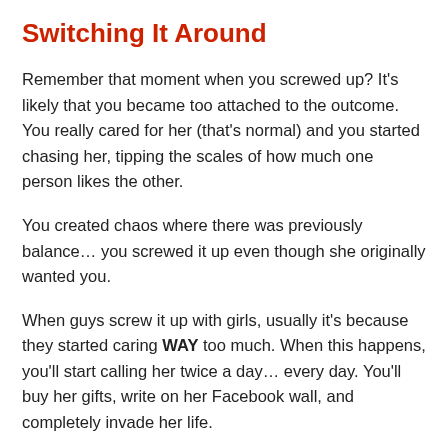Switching It Around
Remember that moment when you screwed up? It's likely that you became too attached to the outcome. You really cared for her (that's normal) and you started chasing her, tipping the scales of how much one person likes the other.
You created chaos where there was previously balance… you screwed it up even though she originally wanted you.
When guys screw it up with girls, usually it's because they started caring WAY too much. When this happens, you'll start calling her twice a day… every day. You'll buy her gifts, write on her Facebook wall, and completely invade her life.
Whenever someone starts liking you too much, you instantly get turned off. That person becomes someone you want to avoid instead of someone you want to spend time with…